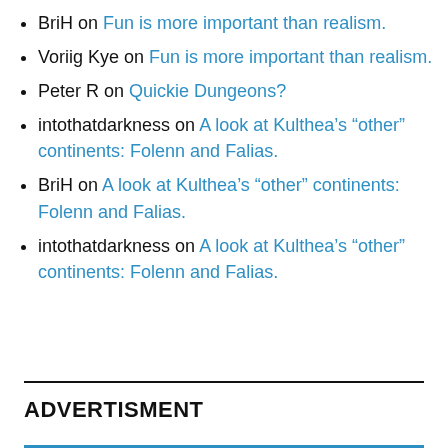BriH on Fun is more important than realism.
Voriig Kye on Fun is more important than realism.
Peter R on Quickie Dungeons?
intothatdarkness on A look at Kulthea’s “other” continents: Folenn and Falias.
BriH on A look at Kulthea’s “other” continents: Folenn and Falias.
intothatdarkness on A look at Kulthea’s “other” continents: Folenn and Falias.
ADVERTISMENT